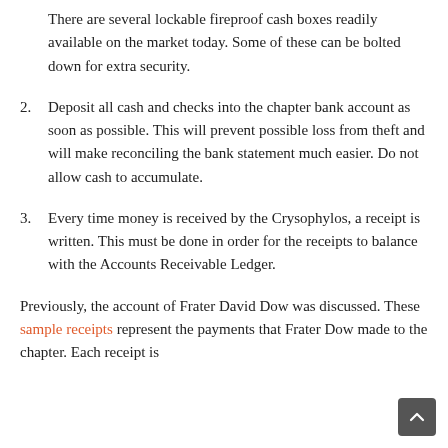There are several lockable fireproof cash boxes readily available on the market today. Some of these can be bolted down for extra security.
2. Deposit all cash and checks into the chapter bank account as soon as possible. This will prevent possible loss from theft and will make reconciling the bank statement much easier. Do not allow cash to accumulate.
3. Every time money is received by the Crysophylos, a receipt is written. This must be done in order for the receipts to balance with the Accounts Receivable Ledger.
Previously, the account of Frater David Dow was discussed. These sample receipts represent the payments that Frater Dow made to the chapter. Each receipt is